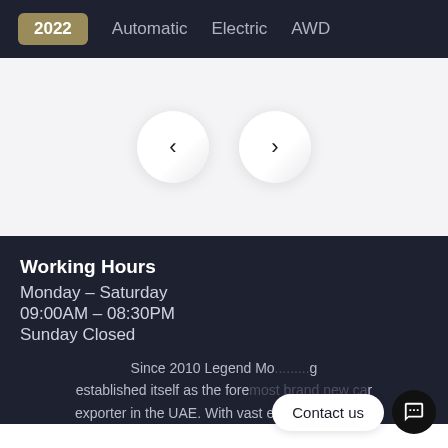2022   Automatic   Electric   AWD
[Figure (other): Navigation carousel with left and right arrow buttons (previous/next controls) on a light grey background]
Working Hours
Monday – Saturday
09:00AM – 08:30PM
Sunday Closed
Since 2010 Legend Mo... established itself as the foremost brand new car exporter in the UAE. With vast experience in the
Contact us